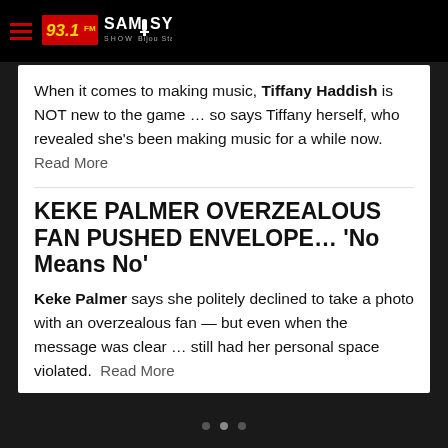93.1 FM SAM SYLK SHOW
When it comes to making music, Tiffany Haddish is NOT new to the game … so says Tiffany herself, who revealed she's been making music for a while now. Read More
KEKE PALMER OVERZEALOUS FAN PUSHED ENVELOPE… 'No Means No'
Keke Palmer says she politely declined to take a photo with an overzealous fan — but even when the message was clear … still had her personal space violated. Read More
WILL SMITH Resurfaces After Oscars Slap… ALL SMILES IN MUMBAI!!!